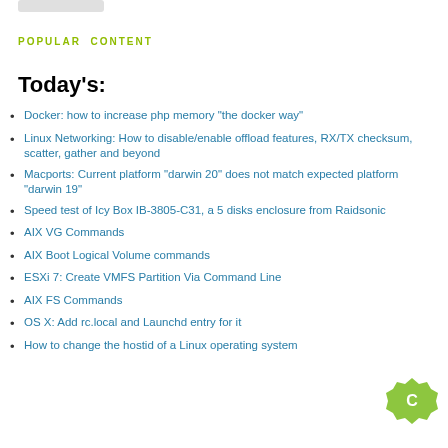POPULAR CONTENT
Today's:
Docker: how to increase php memory "the docker way"
Linux Networking: How to disable/enable offload features, RX/TX checksum, scatter, gather and beyond
Macports: Current platform "darwin 20" does not match expected platform "darwin 19"
Speed test of Icy Box IB-3805-C31, a 5 disks enclosure from Raidsonic
AIX VG Commands
AIX Boot Logical Volume commands
ESXi 7: Create VMFS Partition Via Command Line
AIX FS Commands
OS X: Add rc.local and Launchd entry for it
How to change the hostid of a Linux operating system